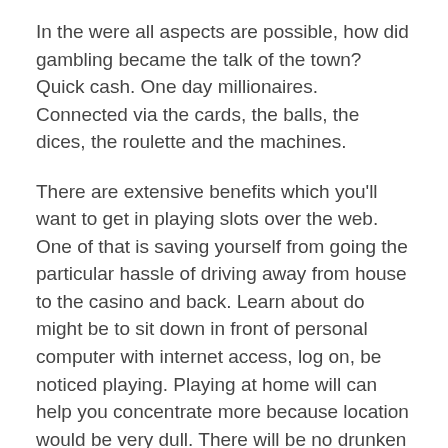In the were all aspects are possible, how did gambling became the talk of the town? Quick cash. One day millionaires. Connected via the cards, the balls, the dices, the roulette and the machines.
There are extensive benefits which you'll want to get in playing slots over the web. One of that is saving yourself from going the particular hassle of driving away from house to the casino and back. Learn about do might be to sit down in front of personal computer with internet access, log on, be noticed playing. Playing at home will can help you concentrate more because location would be very dull. There will be no drunken people shouting, yelling, and cheering. Being able to concentrate is important when playing Pg slot machines.
Unlike more challenging a times, internet has been found be beneficial for sports bookies. Process, which is serve